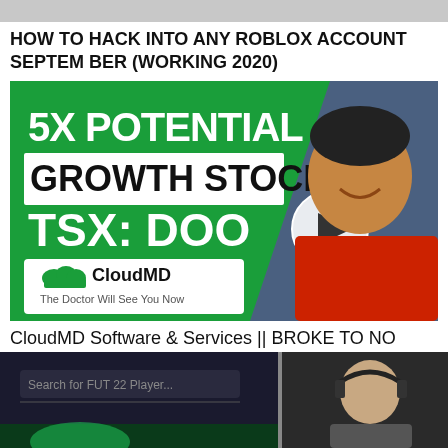[Figure (screenshot): Gray bar at top of page (partial thumbnail)]
HOW TO HACK INTO ANY ROBLOX ACCOUNT SEPTEMBER (WORKING 2020)
[Figure (screenshot): YouTube thumbnail for CloudMD Software & Services video. Green background with text '5X POTENTIAL GROWTH STOCK TSX: DOO' and CloudMD logo 'The Doctor Will See You Now'. A man in a red shirt points to the text. Play button overlay visible.]
CloudMD Software & Services || BROKE TO NO JOKE SERIES
[Figure (screenshot): Partially visible thumbnail showing a search bar with 'Search for FUT 22 Player...' text and a person wearing a headset on the right side.]